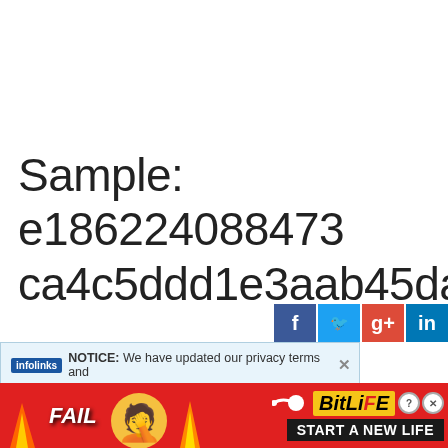Sample: e186224088473ca4c5ddd1e3aab45da5
[Figure (screenshot): Social sharing buttons: Facebook (blue), Twitter (light blue), Google+ (red), LinkedIn (blue)]
NOTICE: We have updated our privacy terms and
[Figure (screenshot): BitLife advertisement banner with FAIL text, facepalm emoji, fire graphics, sperm logo, and 'START A NEW LIFE' text on dark background]